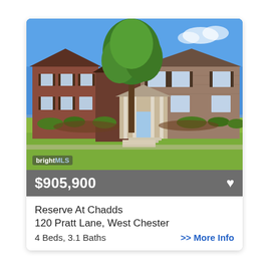[Figure (photo): Exterior photo of a large two-story brick and stone colonial home with a large tree in front, manicured lawn, bright blue sky. 'bright MLS' watermark logo in lower left corner of photo.]
$905,900
Reserve At Chadds
120 Pratt Lane, West Chester
4 Beds, 3.1 Baths
>> More Info